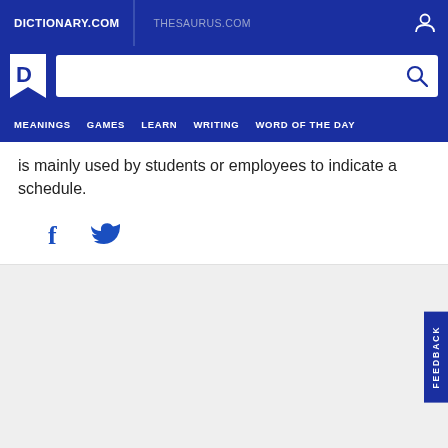DICTIONARY.COM   THESAURUS.COM
[Figure (screenshot): Dictionary.com logo (white D on blue bookmark shape) and search bar]
MEANINGS  GAMES  LEARN  WRITING  WORD OF THE DAY
is mainly used by students or employees to indicate a schedule.
[Figure (other): Facebook and Twitter social share icons in blue]
FEEDBACK